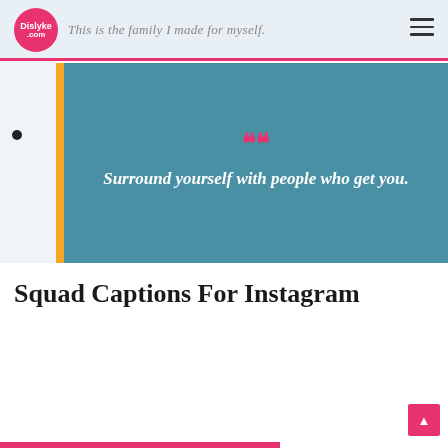Dislyke.com — This is the family I made for myself.
[Figure (illustration): Teal quote box with orange left accent bar, pink quotation mark icon, and italic white text reading: Surround yourself with people who get you.]
Squad Captions For Instagram